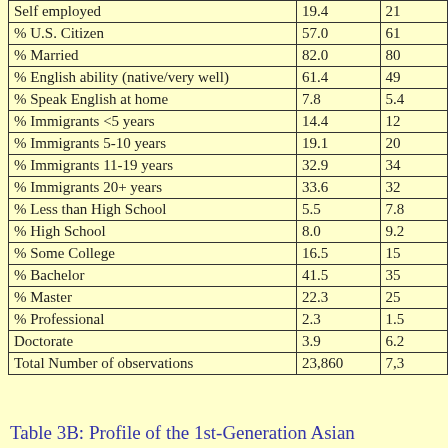|  |  |  |
| --- | --- | --- |
| Self employed | 19.4 | 21 |
| % U.S. Citizen | 57.0 | 61 |
| % Married | 82.0 | 80 |
| % English ability (native/very well) | 61.4 | 49 |
| % Speak English at home | 7.8 | 5.4 |
| % Immigrants <5 years | 14.4 | 12 |
| % Immigrants 5-10 years | 19.1 | 20 |
| % Immigrants 11-19 years | 32.9 | 34 |
| % Immigrants 20+ years | 33.6 | 32 |
| % Less than High School | 5.5 | 7.8 |
| % High School | 8.0 | 9.2 |
| % Some College | 16.5 | 15 |
| % Bachelor | 41.5 | 35 |
| % Master | 22.3 | 25 |
| % Professional | 2.3 | 1.5 |
| Doctorate | 3.9 | 6.2 |
| Total Number of observations | 23,860 | 7,3 |
Table 3B: Profile of the 1st-Generation Asian